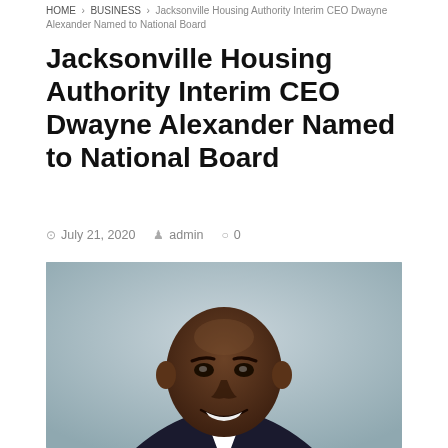HOME > BUSINESS > Jacksonville Housing Authority Interim CEO Dwayne Alexander Named to National Board
Jacksonville Housing Authority Interim CEO Dwayne Alexander Named to National Board
July 21, 2020  admin  0
[Figure (photo): Headshot photo of Dwayne Alexander, a bald Black man smiling, wearing a suit, photographed against a light grey-blue background.]